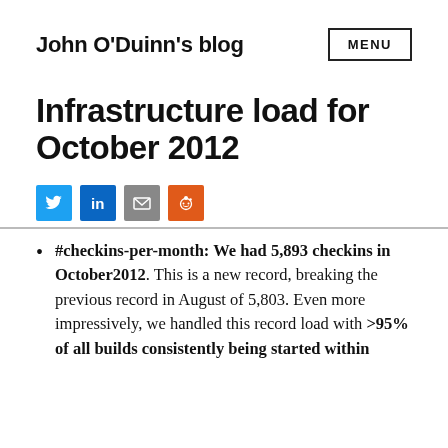John O'Duinn's blog
Infrastructure load for October 2012
[Figure (infographic): Row of social sharing icons: Twitter (blue bird), LinkedIn (blue 'in'), Email (grey envelope), Reddit (orange alien)]
#checkins-per-month: We had 5,893 checkins in October2012. This is a new record, breaking the previous record in August of 5,803. Even more impressively, we handled this record load with >95% of all builds consistently being started within